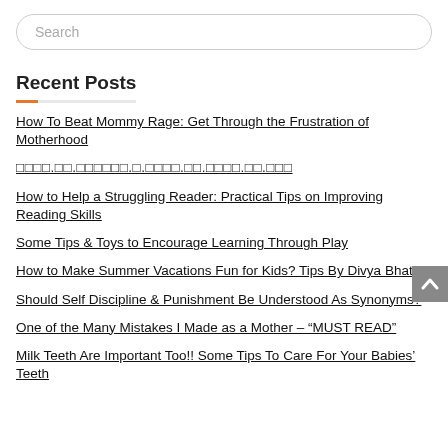Search
Recent Posts
How To Beat Mommy Rage: Get Through the Frustration of Motherhood
□□□□.□□.□□□□□□.□.□□□□.□□.□□□□.□□.□□□
How to Help a Struggling Reader: Practical Tips on Improving Reading Skills
Some Tips & Toys to Encourage Learning Through Play
How to Make Summer Vacations Fun for Kids? Tips By Divya Bhatia!
Should Self Discipline & Punishment Be Understood As Synonyms?
One of the Many Mistakes I Made as a Mother – "MUST READ"
Milk Teeth Are Important Too!! Some Tips To Care For Your Babies' Teeth